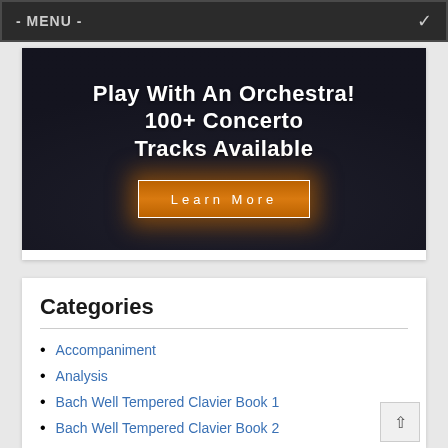- MENU -
[Figure (illustration): Dark themed banner advertisement: 'Play With An Orchestra! 100+ Concerto Tracks Available' with a glowing orange 'Learn More' button on dark background]
Categories
Accompaniment
Analysis
Bach Well Tempered Clavier Book 1
Bach Well Tempered Clavier Book 2
Beethoven Piano Sonatas
Brass